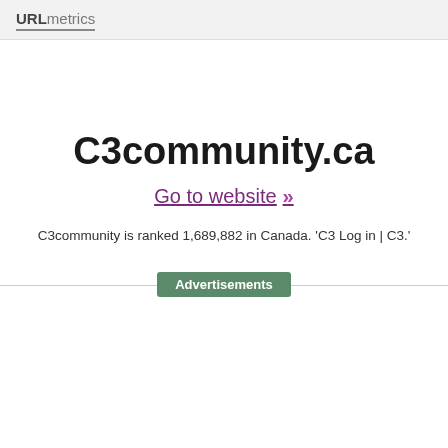URLmetrics
C3community.ca
Go to website >>
C3community is ranked 1,689,882 in Canada. 'C3 Log in | C3.'
Advertisements